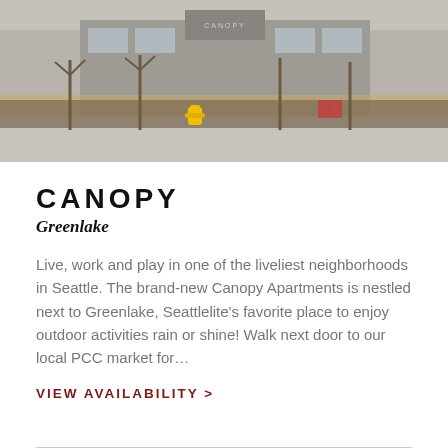[Figure (photo): Exterior photo of Canopy Apartments building with yellow fire hydrant in foreground, freshly landscaped planters, and wooden fence/planter boxes along the sidewalk.]
CANOPY
Greenlake
Live, work and play in one of the liveliest neighborhoods in Seattle. The brand-new Canopy Apartments is nestled next to Greenlake, Seattlelite's favorite place to enjoy outdoor activities rain or shine! Walk next door to our local PCC market for…
VIEW AVAILABILITY >